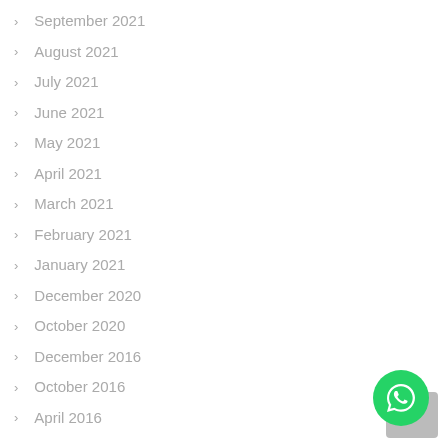September 2021
August 2021
July 2021
June 2021
May 2021
April 2021
March 2021
February 2021
January 2021
December 2020
October 2020
December 2016
October 2016
April 2016
[Figure (logo): WhatsApp chat button icon (green circle with white phone/chat icon)]